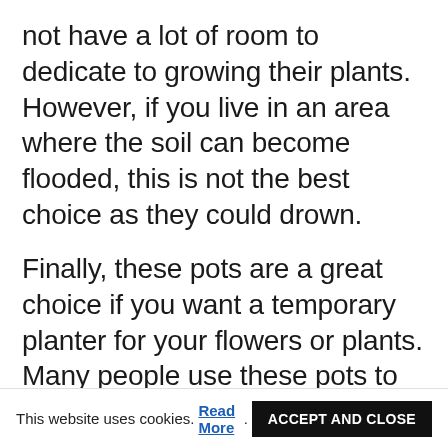not have a lot of room to dedicate to growing their plants. However, if you live in an area where the soil can become flooded, this is not the best choice as they could drown.
Finally, these pots are a great choice if you want a temporary planter for your flowers or plants. Many people use these pots to grow herbs, shrubs, and vegetables in order to have something available for when they are not gardening. You can use an old rug or
This website uses cookies. Read More. ACCEPT AND CLOSE